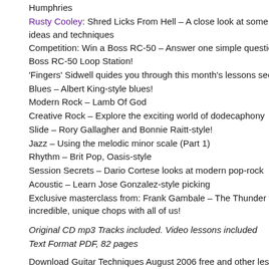Humphries
Rusty Cooley: Shred Licks From Hell – A close look at some ideas and techniques
Competition: Win a Boss RC-50 – Answer one simple question Boss RC-50 Loop Station!
'Fingers' Sidwell quides you through this month's lessons sec
Blues – Albert King-style blues!
Modern Rock – Lamb Of God
Creative Rock – Explore the exciting world of dodecaphony
Slide – Rory Gallagher and Bonnie Raitt-style!
Jazz – Using the melodic minor scale (Part 1)
Rhythm – Brit Pop, Oasis-style
Session Secrets – Dario Cortese looks at modern pop-rock
Acoustic – Learn Jose Gonzalez-style picking
Exclusive masterclass from: Frank Gambale – The Thunder incredible, unique chops with all of us!
Original CD mp3 Tracks included. Video lessons included
Text Format PDF, 82 pages
Download Guitar Techniques August 2006 free and other lesson